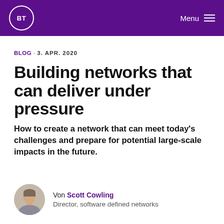BT Menu
BLOG · 3. APR. 2020
Building networks that can deliver under pressure
How to create a network that can meet today's challenges and prepare for potential large-scale impacts in the future.
Von Scott Cowling
Director, software defined networks